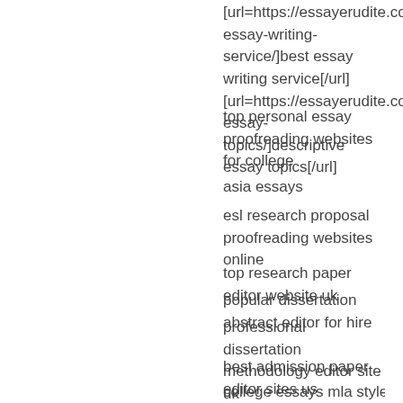[url=https://essayerudite.com/best-essay-writing-service/]best essay writing service[/url] [url=https://essayerudite.com/descriptive-essay-topics/]descriptive essay topics[/url]
top personal essay proofreading websites for college
asia essays
esl research proposal proofreading websites online
top research paper editor website uk
popular dissertation abstract editor for hire
professional dissertation methodology editor site uk
best admission paper editor sites us
college essays mla style
dissertation vita
thesis research methods
help me write investments term paper